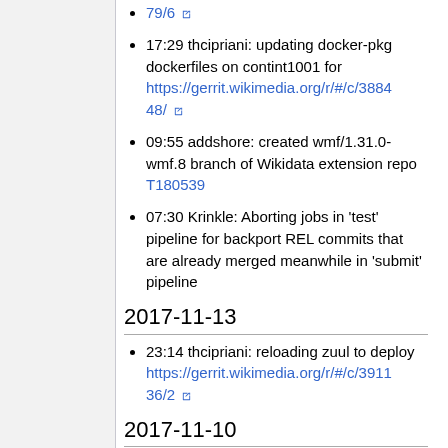79/6 [external link]
17:29 thcipriani: updating docker-pkg dockerfiles on contint1001 for https://gerrit.wikimedia.org/r/#/c/388448/ [external link]
09:55 addshore: created wmf/1.31.0-wmf.8 branch of Wikidata extension repo T180539
07:30 Krinkle: Aborting jobs in 'test' pipeline for backport REL commits that are already merged meanwhile in 'submit' pipeline
2017-11-13
23:14 thcipriani: reloading zuul to deploy https://gerrit.wikimedia.org/r/#/c/391136/2 [external link]
2017-11-10